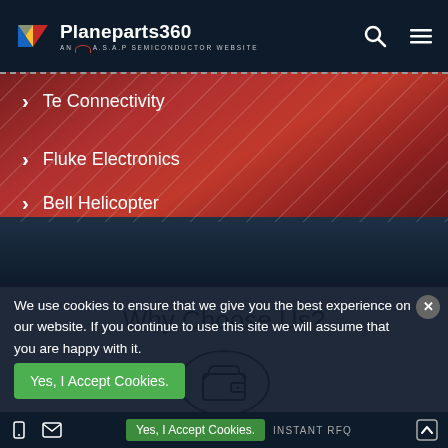Planeparts360 — AN A.S.A.P SEMICONDUCTOR WEBSITE
Te Connectivity
Fluke Electronics
Bell Helicopter
Why Choose Us?
[Figure (illustration): Wallet icon inside a circle]
Low Price
We use cookies to ensure that we give you the best experience on our website. If you continue to use this site we will assume that you are happy with it.
Yes, I Accept Cookies.
INSTANT RFQ